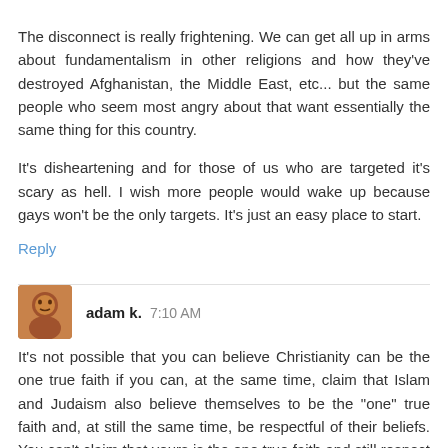The disconnect is really frightening. We can get all up in arms about fundamentalism in other religions and how they've destroyed Afghanistan, the Middle East, etc... but the same people who seem most angry about that want essentially the same thing for this country.
It's disheartening and for those of us who are targeted it's scary as hell. I wish more people would wake up because gays won't be the only targets. It's just an easy place to start.
Reply
adam k.  7:10 AM
It's not possible that you can believe Christianity can be the one true faith if you can, at the same time, claim that Islam and Judaism also believe themselves to be the "one" true faith and, at still the same time, be respectful of their beliefs. You can't claim that yours is the one true faith and still respect others' beliefs. It's impossible. One or all of you must be wrong. You sound like a reasonable, open-minded